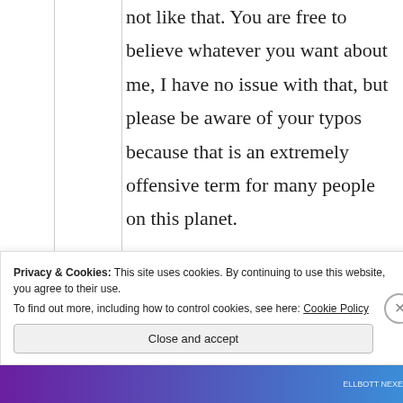not like that. You are free to believe whatever you want about me, I have no issue with that, but please be aware of your typos because that is an extremely offensive term for many people on this planet.

It was very nice hearing from you. Thank you,
Privacy & Cookies: This site uses cookies. By continuing to use this website, you agree to their use.
To find out more, including how to control cookies, see here: Cookie Policy